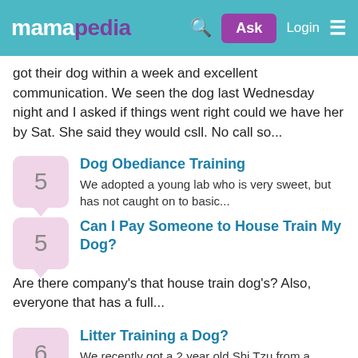mamapedia — Search, Ask, Login
got their dog within a week and excellent communication. We seen the dog last Wednesday night and I asked if things went right could we have her by Sat. She said they would csll. No call so...
5 — Dog Obediance Training — We adopted a young lab who is very sweet, but has not caught on to basic...
5 — Can I Pay Someone to House Train My Dog? — Are there company's that house train dog's? Also, everyone that has a full...
6 — Litter Training a Dog? — We recently got a 2 year old Shi Tzu from a shelter. We...